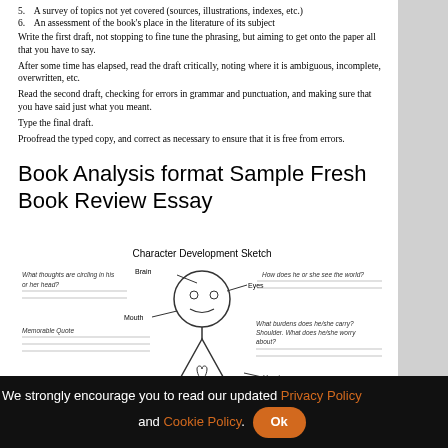5. A survey of topics not yet covered (sources, illustrations, indexes, etc.)
6. An assessment of the book's place in the literature of its subject
Write the first draft, not stopping to fine tune the phrasing, but aiming to get onto the paper all that you have to say.
After some time has elapsed, read the draft critically, noting where it is ambiguous, incomplete, overwritten, etc.
Read the second draft, checking for errors in grammar and punctuation, and making sure that you have said just what you meant.
Type the final draft.
Proofread the typed copy, and correct as necessary to ensure that it is free from errors.
Book Analysis format Sample Fresh Book Review Essay
[Figure (illustration): Character Development Sketch: a stick figure with labeled arrows pointing to Brain, Eyes, Mouth, Heart, Right Hand, Left Hand, with italic handwritten-style text describing questions for each body part.]
We strongly encourage you to read our updated Privacy Policy and Cookie Policy. Ok